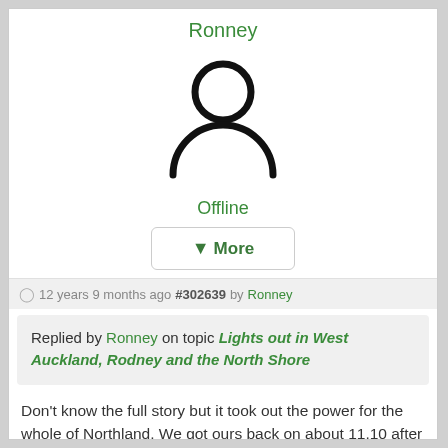Ronney
[Figure (illustration): Generic user avatar icon: circle head above a half-circle body silhouette, black stroke on white background]
Offline
▼More
🕐 12 years 9 months ago #302639 by Ronney
Replied by Ronney on topic Lights out in West Auckland, Rodney and the North Shore
Don't know the full story but it took out the power for the whole of Northland. We got ours back on about 11.10 after having lost it around 8.00am. This is Third World stuff - a glitch in Otahuhu can